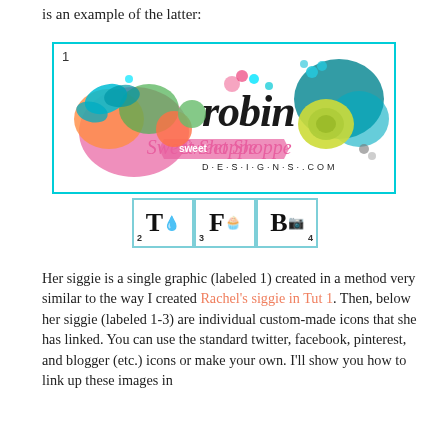is an example of the latter:
[Figure (illustration): A decorative scrapbooking siggie graphic for 'Robin Sweet Shoppe Designs .com' with colorful flowers, butterflies, and embellishments, labeled '1', with a cyan border. Below it are three custom icon buttons labeled 2, 3, 4 with letters T, F, B and small decorative icons.]
Her siggie is a single graphic (labeled 1) created in a method very similar to the way I created Rachel's siggie in Tut 1. Then, below her siggie (labeled 1-3) are individual custom-made icons that she has linked. You can use the standard twitter, facebook, pinterest, and blogger (etc.) icons or make your own. I'll show you how to link up these images in